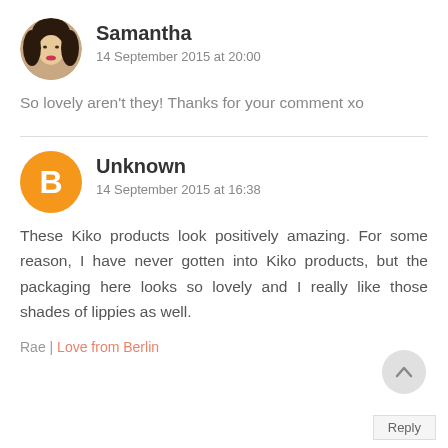[Figure (photo): Circular avatar photo of Samantha, a woman with light skin and blonde/dark hair]
Samantha
14 September 2015 at 20:00
So lovely aren't they! Thanks for your comment xo
[Figure (logo): Blogger 'B' logo icon in orange circle for Unknown commenter]
Unknown
14 September 2015 at 16:38
These Kiko products look positively amazing. For some reason, I have never gotten into Kiko products, but the packaging here looks so lovely and I really like those shades of lippies as well.
Rae | Love from Berlin
Reply